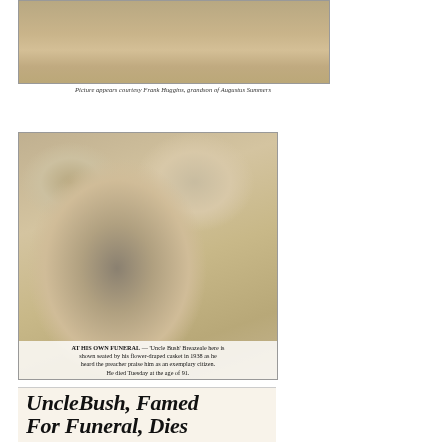[Figure (photo): Sepia-toned photograph of a person standing outdoors on bare ground, full body shot, historical black and white photo]
Picture appears courtesy Frank Huggins, grandson of Augustus Summers
[Figure (photo): Newspaper clipping photograph showing a person seated by a flower-draped casket at their own funeral. Caption reads: AT HIS OWN FUNERAL — 'Uncle Bush' Breazeale here is shown seated by his flower-draped casket in 1938 as he heard the preacher praise him as an exemplary citizen. He died Tuesday at the age of 91. Headline: Uncle Bush, Famed For Funeral, Dies]